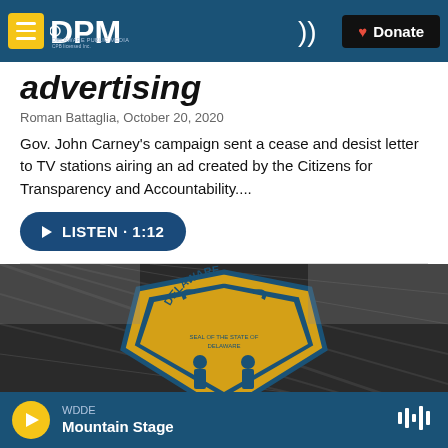DPM Delaware Public Media | Donate
advertising
Roman Battaglia, October 20, 2020
Gov. John Carney's campaign sent a cease and desist letter to TV stations airing an ad created by the Citizens for Transparency and Accountability....
LISTEN • 1:12
[Figure (photo): Delaware state seal badge (yellow and blue shield with figures) in black and white background, appears to be on a fence]
WDDE Mountain Stage